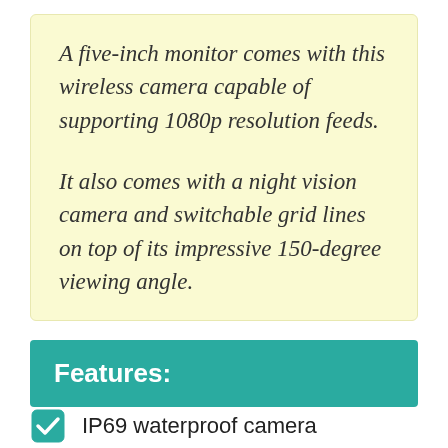A five-inch monitor comes with this wireless camera capable of supporting 1080p resolution feeds.

It also comes with a night vision camera and switchable grid lines on top of its impressive 150-degree viewing angle.
Features:
IP69 waterproof camera